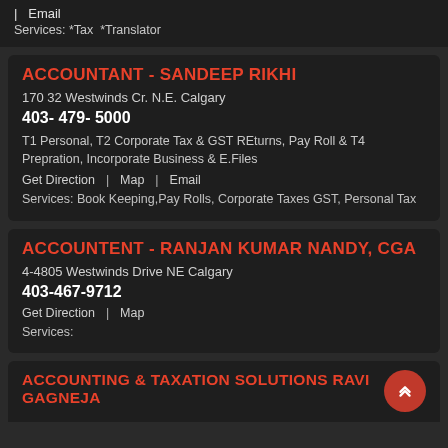| Email
Services: *Tax *Translator
ACCOUNTANT - SANDEEP RIKHI
170 32 Westwinds Cr. N.E. Calgary
403- 479- 5000
T1 Personal, T2 Corporate Tax & GST REturns, Pay Roll & T4 Prepration, Incorporate Business & E.Files
Get Direction  |  Map  |  Email
Services: Book Keeping,Pay Rolls, Corporate Taxes GST, Personal Tax
ACCOUNTENT - RANJAN KUMAR NANDY, CGA
4-4805 Westwinds Drive NE Calgary
403-467-9712
Get Direction  |  Map
Services:
ACCOUNTING & TAXATION SOLUTIONS RAVI GAGNEJA